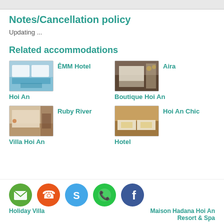Notes/Cancellation policy
Updating ...
Related accommodations
[Figure (photo): ÊMM Hotel Hoi An - hotel with pool]
ÊMM Hotel
Hoi An
[Figure (photo): Aira Boutique Hoi An - hotel room]
Aira
Boutique Hoi An
[Figure (photo): Ruby River Villa Hoi An - hotel room]
Ruby River
Villa Hoi An
[Figure (photo): Hoi An Chic Hotel - hotel room]
Hoi An Chic
Hotel
[Figure (infographic): Social media contact icons: email, phone, skype, whatsapp, facebook]
Holiday Villa
Maison Hadana Hoi An Resort & Spa